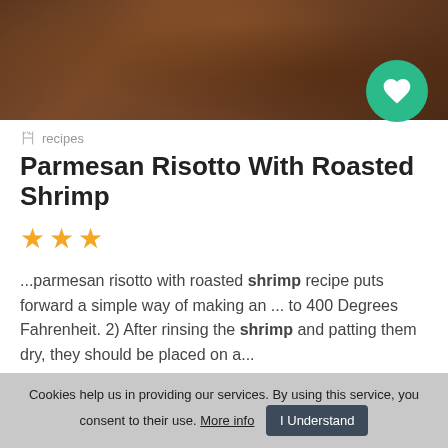[Figure (photo): Top portion of a wooden bowl or dish with dark brown wood grain texture, close-up food photography style background]
recipes
Parmesan Risotto With Roasted Shrimp
[Figure (other): Three orange star rating icons indicating 3 out of 5 stars]
...parmesan risotto with roasted shrimp recipe puts forward a simple way of making an ... to 400 Degrees Fahrenheit. 2) After rinsing the shrimp and patting them dry, they should be placed on a...
Similar recipes like Parmesan Risotto With Roasted Shrimp
8   143   60 min
Cookies help us in providing our services. By using this service, you consent to their use. More info  I Understand